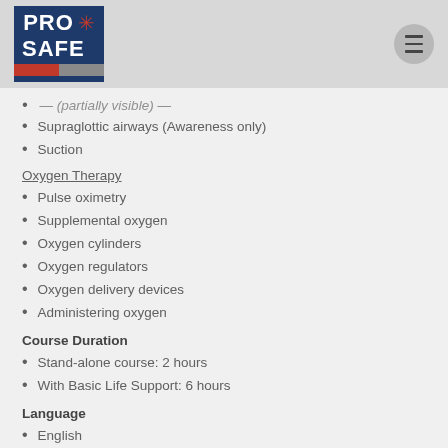[Figure (logo): PRO SAFE logo with red star of life emblem, white text on dark blue background, red and gray stripes at bottom]
Supraglottic airways (Awareness only)
Suction
Oxygen Therapy
Pulse oximetry
Supplemental oxygen
Oxygen cylinders
Oxygen regulators
Oxygen delivery devices
Administering oxygen
Course Duration
Stand-alone course: 2 hours
With Basic Life Support: 6 hours
Language
English
Prerequisite